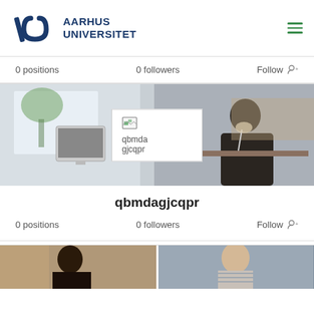[Figure (logo): Aarhus Universitet logo with stylized A and U marks]
0 positions   0 followers   Follow
[Figure (photo): Office workspace photo with people working at computers, and a broken profile image overlay showing 'qbmdagjcqpr']
qbmdagjcqpr
0 positions   0 followers   Follow
[Figure (photo): Two partial photos at bottom: person on left, person on right]